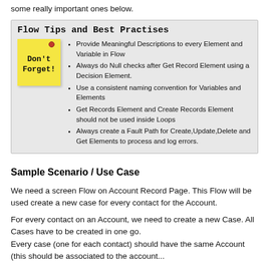some really important ones below.
[Figure (infographic): Flow Tips and Best Practises box with sticky note saying Don't Forget! and a bulleted list of flow best practices]
Sample Scenario / Use Case
We need a screen Flow on Account Record Page. This Flow will be used create a new case for every contact for the Account.
For every contact on an Account, we need to create a new Case. All Cases have to be created in one go.
Every case (one for each contact) should have the same Account (this should be associated to the account...